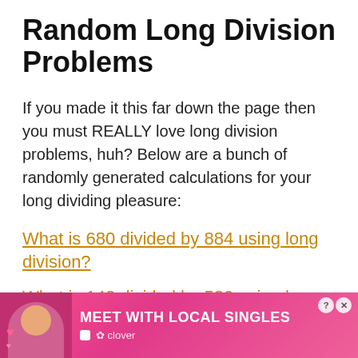Random Long Division Problems
If you made it this far down the page then you must REALLY love long division problems, huh? Below are a bunch of randomly generated calculations for your long dividing pleasure:
What is 680 divided by 884 using long division?
What is 142 divided by 580 using long division?
[Figure (photo): Advertisement banner at bottom of page showing 'Meet With Local Singles' with a woman's photo and Clover branding on a pink gradient background]